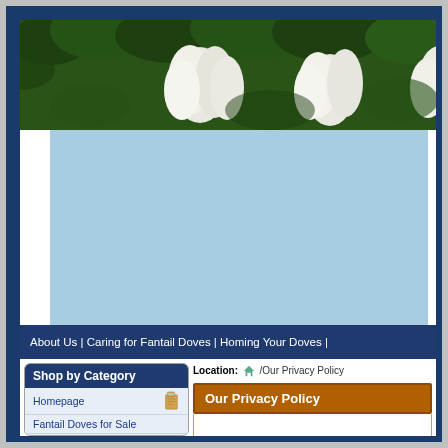[Figure (photo): Website header banner showing white flowers/doves among green leaves on a dark background]
[Figure (other): Light blue rectangular advertisement/banner area]
About Us | Caring for Fantail Doves | Homing Your Doves |
Location: /Our Privacy Policy
Our Privacy Policy
Homepage
Fantail Doves for Sale
Fantail Pairs for Sale
Dove Food Sales
Grit & Minerals Sales
Health & Hygiene Sales